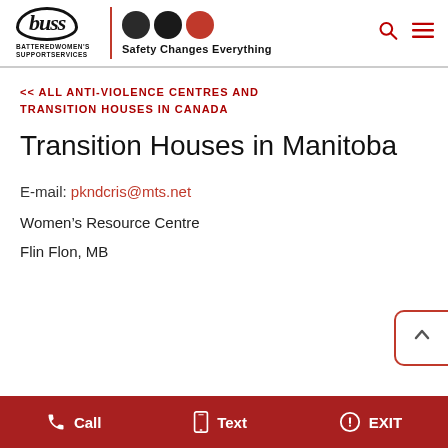buss BATTERED WOMEN'S SUPPORT SERVICES | Safety Changes Everything
<< ALL ANTI-VIOLENCE CENTRES AND TRANSITION HOUSES IN CANADA
Transition Houses in Manitoba
E-mail: pkndcris@mts.net
Women's Resource Centre
Flin Flon, MB
Call   Text   EXIT